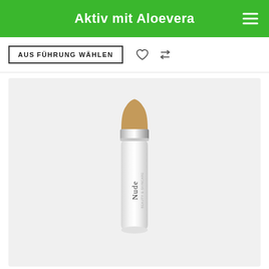Aktiv mit Aloevera
AUSFÜHRUNG WÄHLEN
[Figure (photo): A cosmetic concealer stick in a white and silver tube labeled 'Nude', with a beige/tan colored product tip, displayed on a light grey background.]